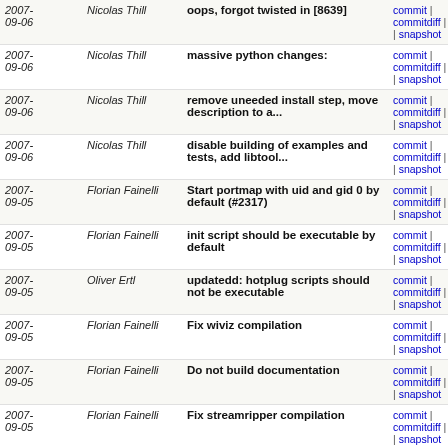| Date | Author | Message | Links |
| --- | --- | --- | --- |
| 2007-09-06 | Nicolas Thill | oops, forgot twisted in [8639] | commit | commitdiff | tree | snapshot |
| 2007-09-06 | Nicolas Thill | massive python changes: | commit | commitdiff | tree | snapshot |
| 2007-09-06 | Nicolas Thill | remove uneeded install step, move description to a... | commit | commitdiff | tree | snapshot |
| 2007-09-06 | Nicolas Thill | disable building of examples and tests, add libtool... | commit | commitdiff | tree | snapshot |
| 2007-09-05 | Florian Fainelli | Start portmap with uid and gid 0 by default (#2317) | commit | commitdiff | tree | snapshot |
| 2007-09-05 | Florian Fainelli | init script should be executable by default | commit | commitdiff | tree | snapshot |
| 2007-09-05 | Oliver Ertl | updatedd: hotplug scripts should not be executable | commit | commitdiff | tree | snapshot |
| 2007-09-05 | Florian Fainelli | Fix wiviz compilation | commit | commitdiff | tree | snapshot |
| 2007-09-05 | Florian Fainelli | Do not build documentation | commit | commitdiff | tree | snapshot |
| 2007-09-05 | Florian Fainelli | Fix streamripper compilation | commit | commitdiff | tree | snapshot |
| 2007-09-05 | Florian Fainelli | Fix ssmtp compilation | commit | commitdiff | tree | snapshot |
| 2007-09-05 | Florian Fainelli | Fix nagios compilation | commit | commitdiff | tree | snapshot |
| 2007-09-05 | Florian Fainelli | Fix logrotate compilation | commit | commitdiff | tree | snapshot |